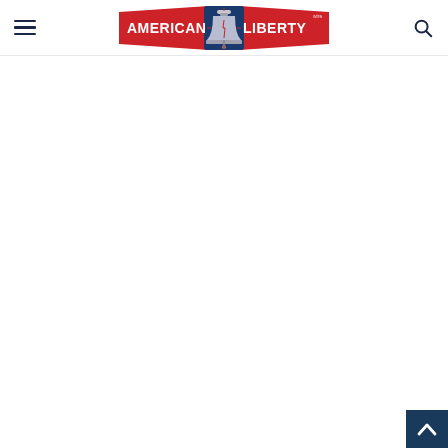American Liberty - navigation header with hamburger menu, logo, and search icon
[Figure (logo): American Liberty logo: red banner with white text 'AMERICAN LIBERTY' and a blue liberty bell figure in the center, with a small figure silhouette]